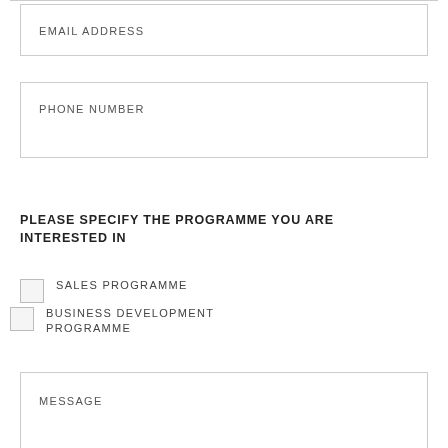EMAIL ADDRESS
PHONE NUMBER
PLEASE SPECIFY THE PROGRAMME YOU ARE INTERESTED IN
SALES PROGRAMME
BUSINESS DEVELOPMENT PROGRAMME
MESSAGE